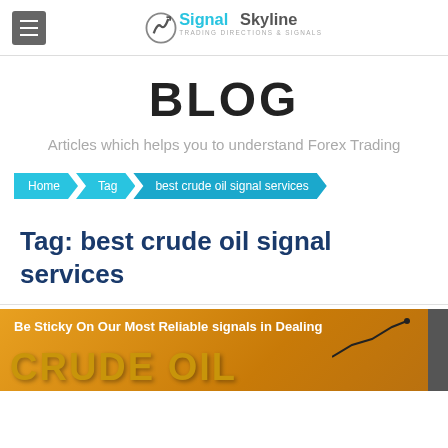SignalSkyline TRADING DIRECTIONS & SIGNALS
BLOG
Articles which helps you to understand Forex Trading
Home > Tag > best crude oil signal services
Tag: best crude oil signal services
[Figure (photo): Crude oil blog post thumbnail image with orange background showing text 'Be Sticky On Our Most Reliable signals in Dealing CRUDE OIL...' with a chart line graphic and dark right border bar]